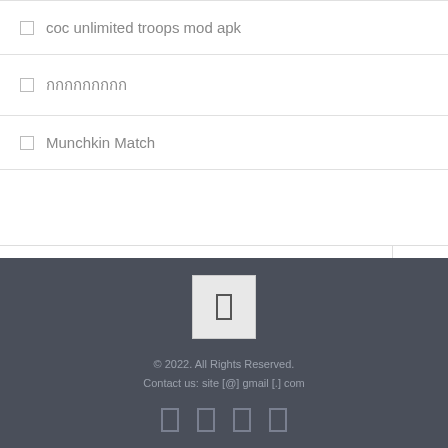coc unlimited troops mod apk
กกกกกกกกก
Munchkin Match
© 2022. All Rights Reserved.
Contact us: site [@] gmail [.] com